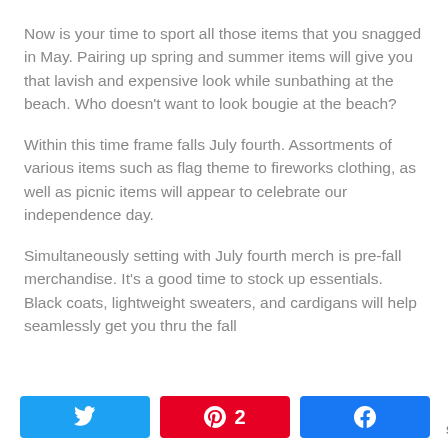Now is your time to sport all those items that you snagged in May. Pairing up spring and summer items will give you that lavish and expensive look while sunbathing at the beach. Who doesn't want to look bougie at the beach?
Within this time frame falls July fourth. Assortments of various items such as flag theme to fireworks clothing, as well as picnic items will appear to celebrate our independence day.
Simultaneously setting with July fourth merch is pre-fall merchandise. It's a good time to stock up essentials. Black coats, lightweight sweaters, and cardigans will help seamlessly get you thru the fall
[Figure (infographic): Social share bar with Twitter, Pinterest (showing 2 shares), and Facebook buttons, plus a total share count of 2 SHARES]